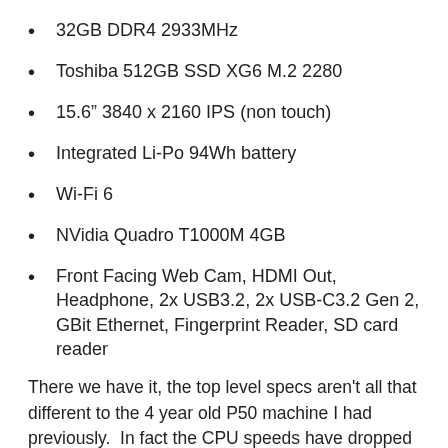32GB DDR4 2933MHz
Toshiba 512GB SSD XG6 M.2 2280
15.6” 3840 x 2160 IPS (non touch)
Integrated Li-Po 94Wh battery
Wi-Fi 6
NVidia Quadro T1000M 4GB
Front Facing Web Cam, HDMI Out, Headphone, 2x USB3.2, 2x USB-C3.2 Gen 2, GBit Ethernet, Fingerprint Reader, SD card reader
There we have it, the top level specs aren't all that different to the 4 year old P50 machine I had previously.  In fact the CPU speeds have dropped slightly although the P15 does have 12 cores to the P50's 8. RAM and GPU memory have both stayed the same and I still have a 512GB SSD.  Interestingly, the battery is now integrated which has moved away from the long standing removable battery on these top line Thinkpad